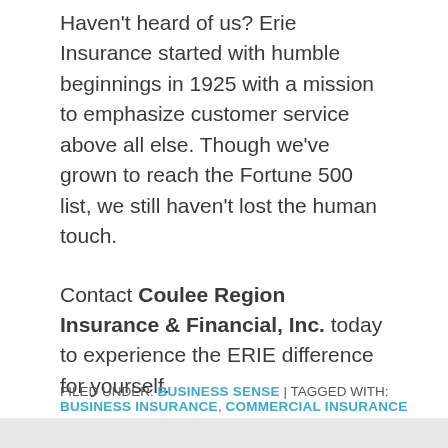Haven't heard of us? Erie Insurance started with humble beginnings in 1925 with a mission to emphasize customer service above all else. Though we've grown to reach the Fortune 500 list, we still haven't lost the human touch.
Contact Coulee Region Insurance & Financial, Inc. today to experience the ERIE difference for yourself.
FILED UNDER: BUSINESS SENSE | TAGGED WITH: BUSINESS INSURANCE, COMMERCIAL INSURANCE